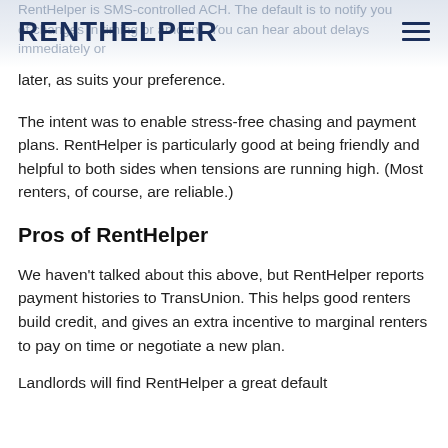RentHelper
later, as suits your preference.
The intent was to enable stress-free chasing and payment plans. RentHelper is particularly good at being friendly and helpful to both sides when tensions are running high. (Most renters, of course, are reliable.)
Pros of RentHelper
We haven't talked about this above, but RentHelper reports payment histories to TransUnion. This helps good renters build credit, and gives an extra incentive to marginal renters to pay on time or negotiate a new plan.
Landlords will find RentHelper a great default...